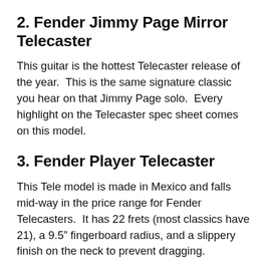2. Fender Jimmy Page Mirror Telecaster
This guitar is the hottest Telecaster release of the year.  This is the same signature classic you hear on that Jimmy Page solo.  Every highlight on the Telecaster spec sheet comes on this model.
3. Fender Player Telecaster
This Tele model is made in Mexico and falls mid-way in the price range for Fender Telecasters.  It has 22 frets (most classics have 21), a 9.5” fingerboard radius, and a slippery finish on the neck to prevent dragging.